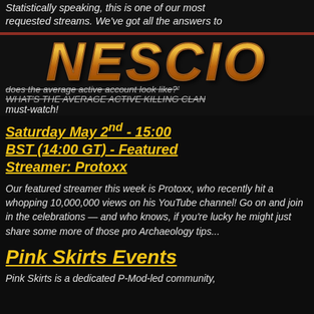Statistically speaking, this is one of our most requested streams. We've got all the answers to
[Figure (logo): NESCIO logo in golden metallic 3D lettering on dark background]
does the average active account look like?' - what does the average active account look like?'
must-watch!
Saturday May 2nd - 15:00 BST (14:00 GT) - Featured Streamer: Protoxx
Our featured streamer this week is Protoxx, who recently hit a whopping 10,000,000 views on his YouTube channel! Go on and join in the celebrations — and who knows, if you're lucky he might just share some more of those pro Archaeology tips...
Pink Skirts Events
Pink Skirts is a dedicated P-Mod-led community,